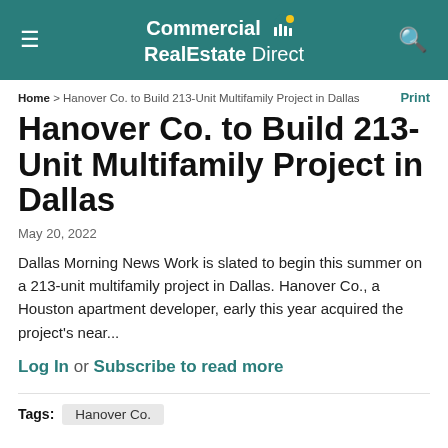Commercial RealEstate Direct
Home > Hanover Co. to Build 213-Unit Multifamily Project in Dallas   Print
Hanover Co. to Build 213-Unit Multifamily Project in Dallas
May 20, 2022
Dallas Morning News Work is slated to begin this summer on a 213-unit multifamily project in Dallas. Hanover Co., a Houston apartment developer, early this year acquired the project's near...
Log In or Subscribe to read more
Tags: Hanover Co.